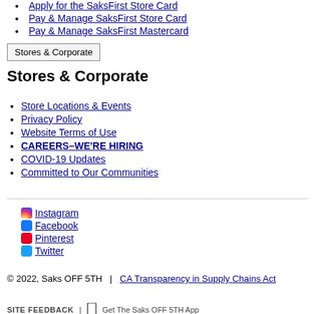Apply for the SaksFirst Store Card
Pay & Manage SaksFirst Store Card
Pay & Manage SaksFirst Mastercard
Stores & Corporate
Stores & Corporate
Store Locations & Events
Privacy Policy
Website Terms of Use
CAREERS–WE'RE HIRING
COVID-19 Updates
Committed to Our Communities
Instagram
Facebook
Pinterest
Twitter
© 2022, Saks OFF 5TH  |  CA Transparency in Supply Chains Act
SITE FEEDBACK  |  Get The Saks OFF 5TH App